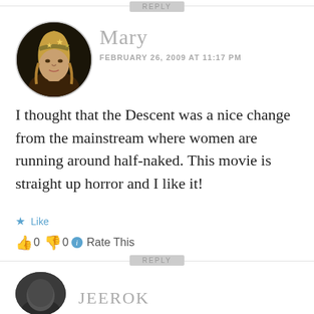REPLY
[Figure (photo): Circular avatar photo of user Mary, showing a woman with long blonde hair wearing an ornate headdress with star decorations]
Mary
FEBRUARY 26, 2009 AT 11:17 PM
I thought that the Descent was a nice change from the mainstream where women are running around half-naked. This movie is straight up horror and I like it!
Like
0  0  Rate This
REPLY
[Figure (photo): Partial circular avatar of next commenter JEEROK]
JEEROK